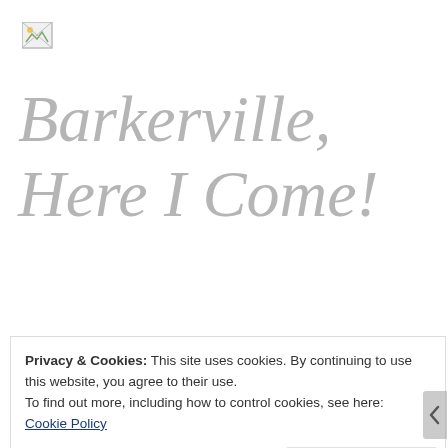[Figure (logo): Small broken image placeholder icon in top left corner]
Barkerville, Here I Come!
This year, as part of my summer vacation, I
Privacy & Cookies: This site uses cookies. By continuing to use this website, you agree to their use.
To find out more, including how to control cookies, see here: Cookie Policy
Close and accept